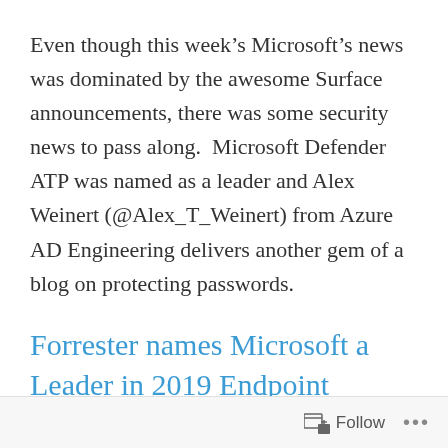Even though this week's Microsoft's news was dominated by the awesome Surface announcements, there was some security news to pass along.  Microsoft Defender ATP was named as a leader and Alex Weinert (@Alex_T_Weinert) from Azure AD Engineering delivers another gem of a blog on protecting passwords.
Forrester names Microsoft a Leader in 2019 Endpoint Security Suites W...